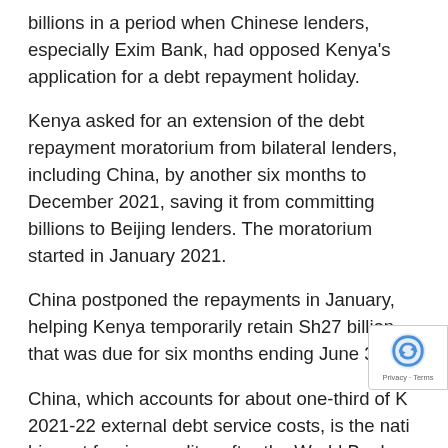billions in a period when Chinese lenders, especially Exim Bank, had opposed Kenya's application for a debt repayment holiday.
Kenya asked for an extension of the debt repayment moratorium from bilateral lenders, including China, by another six months to December 2021, saving it from committing billions to Beijing lenders. The moratorium started in January 2021.
China postponed the repayments in January, helping Kenya temporarily retain Sh27 billion that was due for six months ending June 30.
China, which accounts for about one-third of K 2021-22 external debt service costs, is the nati biggest foreign creditor after the World Bank